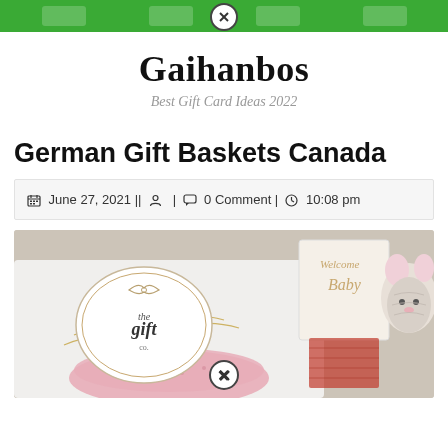Gaihanbos — Best Gift Card Ideas 2022 (navigation bar with close button)
Gaihanbos
Best Gift Card Ideas 2022
German Gift Baskets Canada
June 27, 2021 || [user icon] | [comment icon] 0 Comment | [clock icon] 10:08 pm
[Figure (photo): A white gift box open with straw inside, a round sticker label reading 'the gift co.' with a bow design, pink knit fabric, a 'Welcome Baby' card visible, and a crocheted mouse stuffed animal on the right side.]